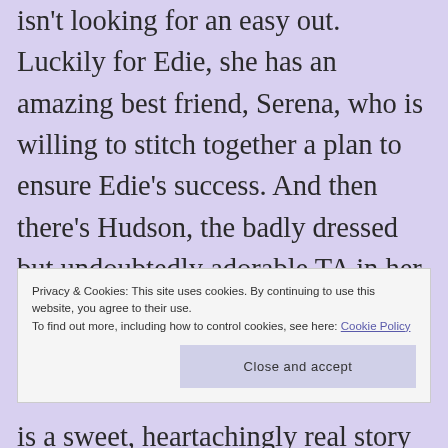isn't looking for an easy out. Luckily for Edie, she has an amazing best friend, Serena, who is willing to stitch together a plan to ensure Edie's success. And then there's Hudson, the badly dressed but undoubtedly adorable TA in her French class who finds himself pulled into her orbit...
Privacy & Cookies: This site uses cookies. By continuing to use this website, you agree to their use. To find out more, including how to control cookies, see here: Cookie Policy
Close and accept
is a sweet, heartachingly real story of